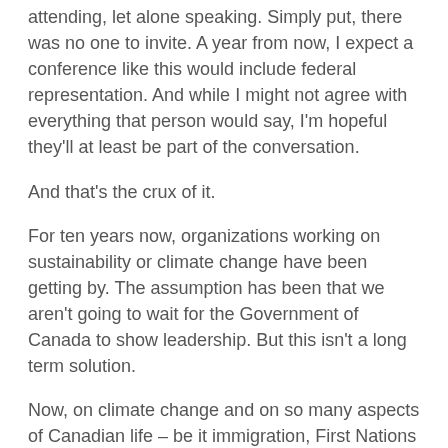attending, let alone speaking. Simply put, there was no one to invite. A year from now, I expect a conference like this would include federal representation.  And while I might not agree with everything that person would say, I'm hopeful they'll at least be part of the conversation.
And that's the crux of it.
For ten years now, organizations working on sustainability or climate change have been getting by.  The assumption has been that we aren't going to wait for the Government of Canada to show leadership. But this isn't a long term solution.
Now, on climate change and on so many aspects of Canadian life – be it immigration, First Nations relations, affordable housing – I'm optimistic the Government of Canada will be welcomed back to the table.
For our part, this welcome comes with a certain degree of